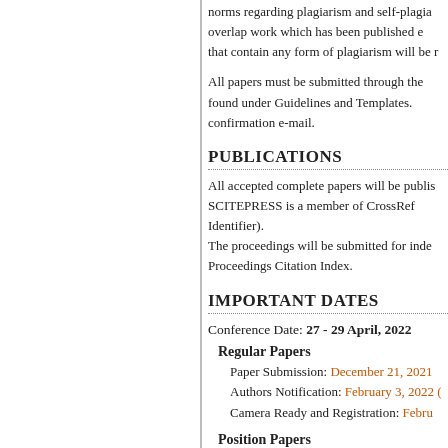norms regarding plagiarism and self-plagiarism. Papers should not overlap work which has been published elsewhere. Manuscripts that contain any form of plagiarism will be rejected.
All papers must be submitted through the submission system, found under Guidelines and Templates. Authors will receive a confirmation e-mail.
PUBLICATIONS
All accepted complete papers will be published by SCITEPRESS. SCITEPRESS is a member of CrossRef (DOI - Digital Object Identifier). The proceedings will be submitted for indexing by Thomson Reuters Proceedings Citation Index.
IMPORTANT DATES
Conference Date: 27 - 29 April, 2022
Regular Papers
Paper Submission: December 21, 2021
Authors Notification: February 3, 2022
Camera Ready and Registration: February
Position Papers
Paper Submission: January 27, 2022 (e
Authors Notification: February 24, 2022
Camera Ready and Registration: Mar